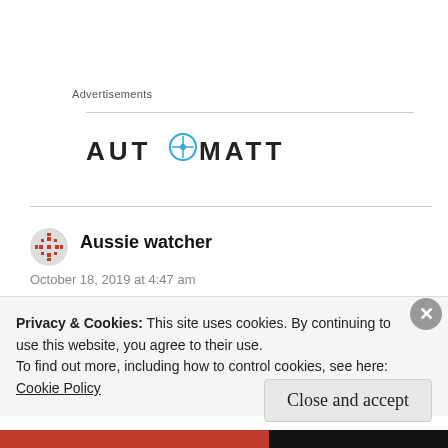Advertisements
[Figure (logo): Automattic logo with compass icon replacing the 'O' in AUTOMATTIC, dark text on white background]
Aussie watcher
October 18, 2019 at 4:47 am
Privacy & Cookies: This site uses cookies. By continuing to use this website, you agree to their use.
To find out more, including how to control cookies, see here:
Cookie Policy
Close and accept